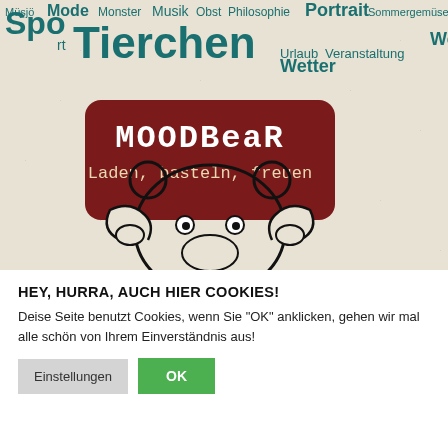[Figure (illustration): Tag cloud with German category words in teal/dark teal colors at various sizes (Müsjö, Mode, Monster, Musik, Obst, Philosophie, Portrait, Sommergemüse, Sport, Tierchen, Urlaub, Veranstaltung, Wetter) overlaid on a beige textured background with a cartoon bear holding a sign reading 'MOODBear – Laden, basteln, freuen']
HEY, HURRA, AUCH HIER COOKIES!
Deise Seite benutzt Cookies, wenn Sie "OK" anklicken, gehen wir mal alle schön von Ihrem Einverständnis aus!
Einstellungen | OK